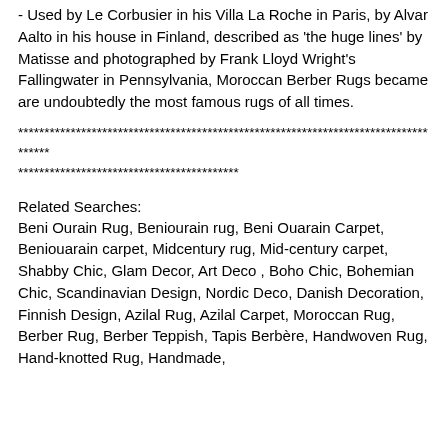- Used by Le Corbusier in his Villa La Roche in Paris, by Alvar Aalto in his house in Finland, described as 'the huge lines' by Matisse and photographed by Frank Lloyd Wright's Fallingwater in Pennsylvania, Moroccan Berber Rugs became are undoubtedly the most famous rugs of all times.
************************************************************************************
******************************************
Related Searches:
Beni Ourain Rug, Beniourain rug, Beni Ouarain Carpet, Beniouarain carpet, Midcentury rug, Mid-century carpet, Shabby Chic, Glam Decor, Art Deco , Boho Chic, Bohemian Chic, Scandinavian Design, Nordic Deco, Danish Decoration, Finnish Design, Azilal Rug, Azilal Carpet, Moroccan Rug, Berber Rug, Berber Teppish, Tapis Berbère, Handwoven Rug, Hand-knotted Rug, Handmade,